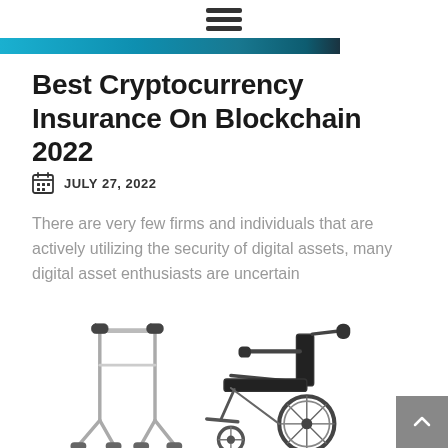☰ (hamburger menu icon)
[Figure (photo): Partial blue/teal blockchain or technology-themed banner image cropped at top]
Best Cryptocurrency Insurance On Blockchain 2022
JULY 27, 2022
There are very few firms and individuals that are actively utilizing the security of digital assets, many digital asset enthusiasts are uncertain
[Figure (photo): Black and white photograph of a walker/rollator frame and a manual wheelchair side by side on a white background]